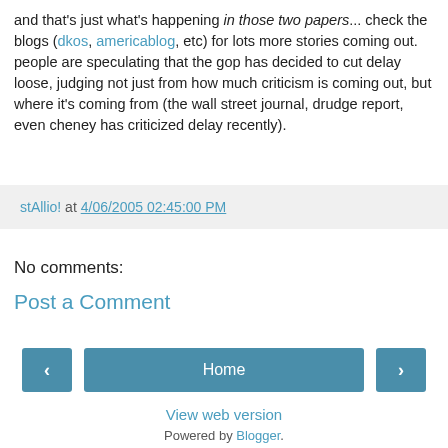and that's just what's happening in those two papers... check the blogs (dkos, americablog, etc) for lots more stories coming out. people are speculating that the gop has decided to cut delay loose, judging not just from how much criticism is coming out, but where it's coming from (the wall street journal, drudge report, even cheney has criticized delay recently).
stAllio! at 4/06/2005 02:45:00 PM
No comments:
Post a Comment
‹
Home
›
View web version
Powered by Blogger.